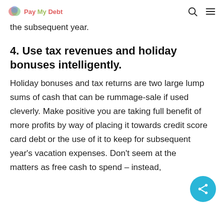Pay My Debt
the subsequent year.
4. Use tax revenues and holiday bonuses intelligently.
Holiday bonuses and tax returns are two large lump sums of cash that can be rummage-sale if used cleverly. Make positive you are taking full benefit of more profits by way of placing it towards credit score card debt or the use of it to keep for subsequent year's vacation expenses. Don't seem at these matters as free cash to spend – instead,